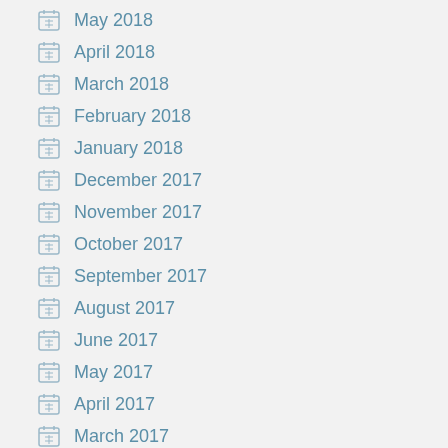May 2018
April 2018
March 2018
February 2018
January 2018
December 2017
November 2017
October 2017
September 2017
August 2017
June 2017
May 2017
April 2017
March 2017